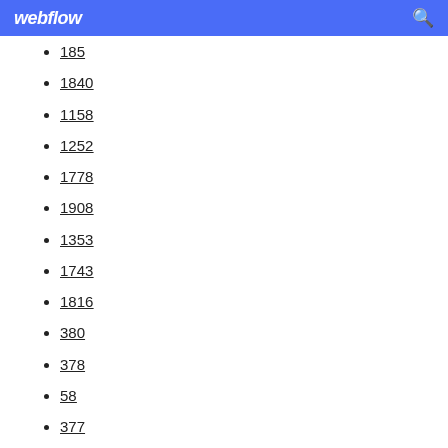webflow
185
1840
1158
1252
1778
1908
1353
1743
1816
380
378
58
377